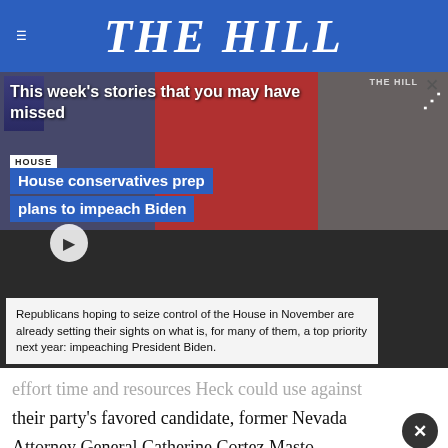THE HILL
[Figure (screenshot): Video player overlay showing 'This week's stories that you may have missed' with headline 'House conservatives prep plans to impeach Biden' and description text about Republicans hoping to seize control of the House in November already setting their sights on impeaching President Biden.]
effort time and resources Heck could use against their party's favored candidate, former Nevada Attorney General Catherine Cortez Masto.
[Figure (infographic): Advertisement banner: CHRIS CUOMO COMING THIS FALL TO NEWSNATION FIND YOUR CHANNEL]
"Shar... another stunning recruitment failure" by the National